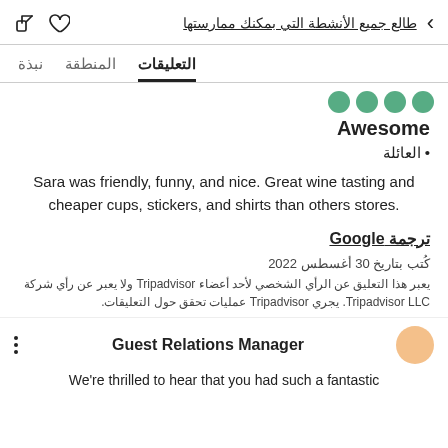طالع جميع الأنشطة التي بمكنك ممارستها
التعليقات  المنطقة  نبذة
Awesome
العائلة
Sara was friendly, funny, and nice. Great wine tasting and cheaper cups, stickers, and shirts than others stores.
ترجمة Google
كُتب بتاريخ 30 أغسطس 2022
يعبر هذا التعليق عن الرأي الشخصي لأحد أعضاء Tripadvisor ولا يعبر عن رأي شركة Tripadvisor LLC. يجري Tripadvisor عمليات تحقق حول التعليقات.
Guest Relations Manager
We're thrilled to hear that you had such a fantastic